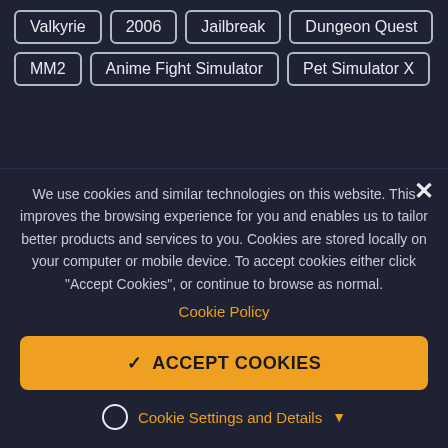Valkyrie
2006
Jailbreak
Dungeon Quest
MM2
Anime Fight Simulator
Pet Simulator X
We use cookies and similar technologies on this website. This improves the browsing experience for you and enables us to tailor better products and services to you. Cookies are stored locally on your computer or mobile device. To accept cookies either click "Accept Cookies", or continue to browse as normal.
Cookie Policy
✓ ACCEPT COOKIES
Cookie Settings and Details ▼